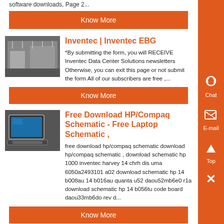software downloads, Page 2...
Know More
[Figure (photo): Factory or warehouse interior with overhead lighting]
Inventec | Inventec EBG
*By submitting the form, you will RECEIVE Inventec Data Center Solutions newsletters Otherwise, you can exit this page or not submit the form All of our subscribers are free ,...
Know More
[Figure (photo): Laptop or computer with schematic/screen visible]
Free Download HP/Compaq Schematic - Free Laptop Schematic ,
free download hp/compaq schematic download hp/compaq schematic , download schematic hp 1000 inventec harvey 14 chrh dis uma 6050a2493101 a02 download schematic hp 14 b008au 14 b016au quanta u52 daou52mb6e0 r1a download schematic hp 14 b056tu code board daou33mb6do rev d...
Know More